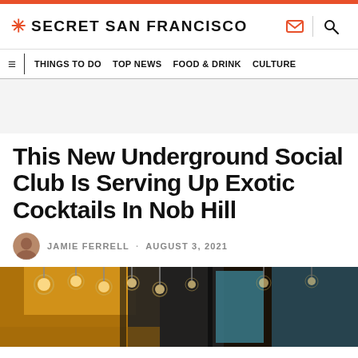SECRET SAN FRANCISCO
THINGS TO DO  TOP NEWS  FOOD & DRINK  CULTURE
This New Underground Social Club Is Serving Up Exotic Cocktails In Nob Hill
JAMIE FERRELL · AUGUST 3, 2021
[Figure (photo): Interior of an underground social club bar with warm amber/yellow lighting, pendant lights hanging from the ceiling, and teal/blue partition walls visible in the background.]